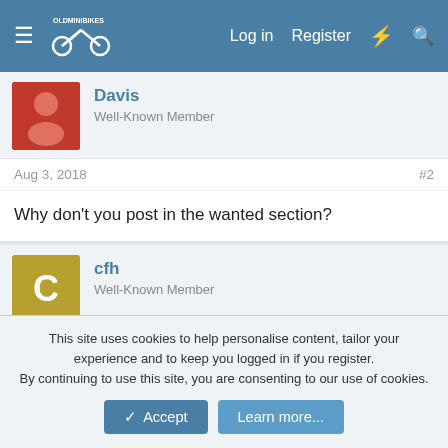OldMiniBikes forum navigation bar with Log in, Register links
Davis
Well-Known Member
Aug 3, 2018
#2
Why don't you post in the wanted section?
cfh
Well-Known Member
Aug 3, 2018
#3
Really want to get this Honda motor off and put a tecumseh back on. But can't really do that until I get a gas tank
This site uses cookies to help personalise content, tailor your experience and to keep you logged in if you register.
By continuing to use this site, you are consenting to our use of cookies.